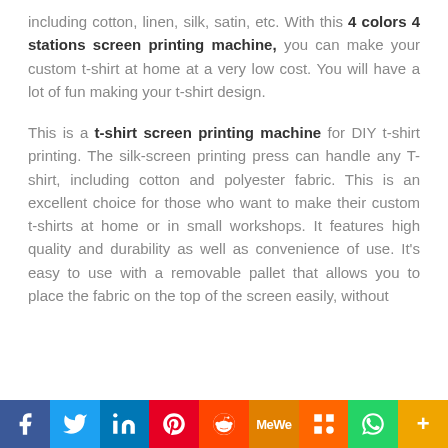including cotton, linen, silk, satin, etc. With this 4 colors 4 stations screen printing machine, you can make your custom t-shirt at home at a very low cost. You will have a lot of fun making your t-shirt design.
This is a t-shirt screen printing machine for DIY t-shirt printing. The silk-screen printing press can handle any T-shirt, including cotton and polyester fabric. This is an excellent choice for those who want to make their custom t-shirts at home or in small workshops. It features high quality and durability as well as convenience of use. It's easy to use with a removable pallet that allows you to place the fabric on the top of the screen easily, without
[Figure (other): Social media sharing bar with icons for Facebook, Twitter, LinkedIn, Pinterest, Reddit, MeWe, Mix, WhatsApp, and More]